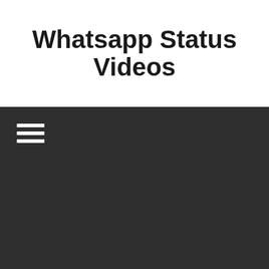Whatsapp Status Videos
[Figure (other): Dark navigation bar with hamburger menu icon (three horizontal white lines) on a dark gray background]